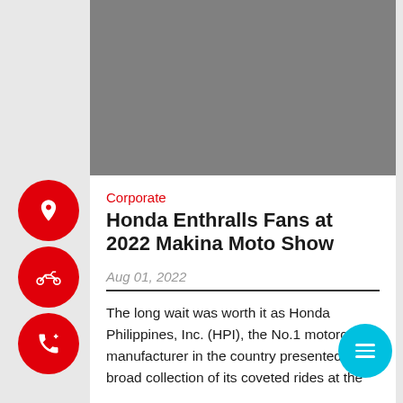[Figure (photo): Gray placeholder image at the top of the article card]
Corporate
Honda Enthralls Fans at 2022 Makina Moto Show
Aug 01, 2022
The long wait was worth it as Honda Philippines, Inc. (HPI), the No.1 motorcycle manufacturer in the country presented a broad collection of its coveted rides at the